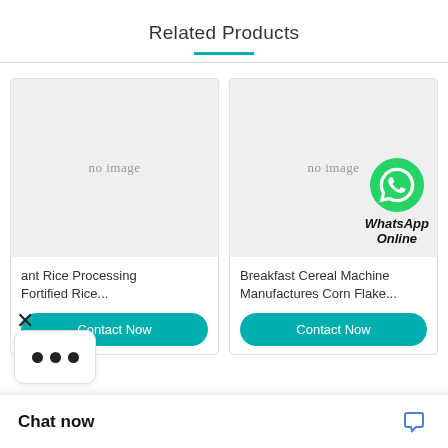Related Products
[Figure (other): Product card: no image placeholder for Rice Processing / Fortified Rice product]
ant Rice Processing Fortified Rice...
Contact Now
[Figure (other): Product card: no image placeholder with WhatsApp Online overlay for Breakfast Cereal Machine product]
Breakfast Cereal Machine Manufactures Corn Flake...
Contact Now
Chat now